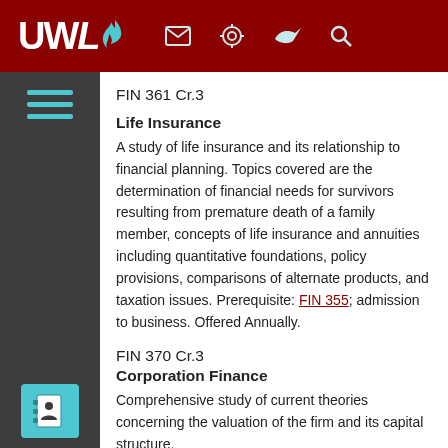UWL header navigation bar
FIN 361 Cr.3
Life Insurance
A study of life insurance and its relationship to financial planning. Topics covered are the determination of financial needs for survivors resulting from premature death of a family member, concepts of life insurance and annuities including quantitative foundations, policy provisions, comparisons of alternate products, and taxation issues. Prerequisite: FIN 355; admission to business. Offered Annually.
FIN 370 Cr.3
Corporation Finance
Comprehensive study of current theories concerning the valuation of the firm and its capital structure.